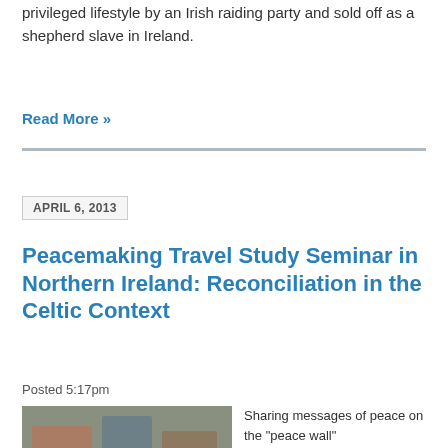privileged lifestyle by an Irish raiding party and sold off as a shepherd slave in Ireland.
Read More »
APRIL 6, 2013
Peacemaking Travel Study Seminar in Northern Ireland: Reconciliation in the Celtic Context
Posted 5:17pm
[Figure (photo): Person writing on a graffiti-covered peace wall]
Sharing messages of peace on the "peace wall" Post by Andy Gans, pastor of Fort King Presbyterian Church in Ocala, FL